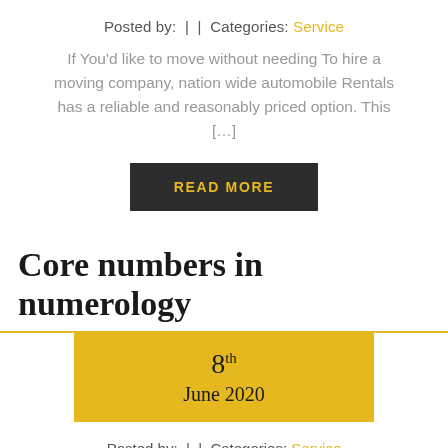Posted by:  |  |  Categories: Service
If You'd like to move without needing To hire a moving company, nation wide automobile Rentals has a reliable and reasonably priced option. This […]
READ MORE
Core numbers in numerology
8th June 2020
Posted by:  |  |  Categories: Service
Numerology is all about Amounts. It's numerology